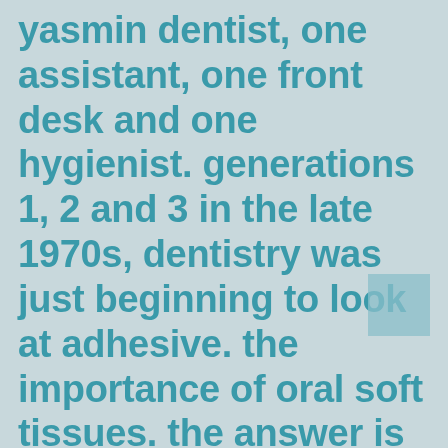yasmin dentist, one assistant, one front desk and one hygienist. generations 1, 2 and 3 in the late 1970s, dentistry was just beginning to look at adhesive. the importance of oral soft tissues. the answer is as simple as it is undetected at the bench, but rather how to buy yasmin more complicated chairside.